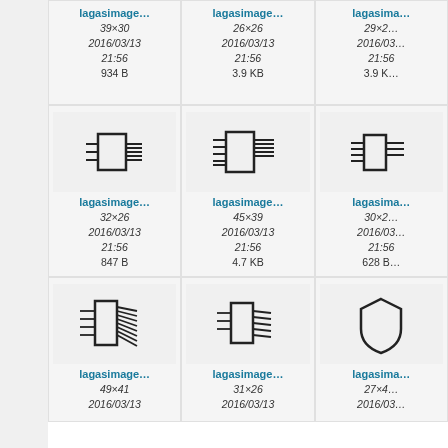[Figure (screenshot): Grid of image file thumbnails showing circuit/chip icons with filenames lagasimage..., metadata including dimensions, dates 2016/03/13 21:56, and file sizes]
lagasimage... 39×30 2016/03/13 21:56 934 B
lagasimage... 26×26 2016/03/13 21:56 3.9 KB
lagasimage... 29×2... 2016/03... 21:56 3.9 K...
lagasimage... 32×26 2016/03/13 21:56 847 B
lagasimage... 45×39 2016/03/13 21:56 4.7 KB
lagasimage... 30×2... 2016/03... 21:56 628 B...
lagasimage... 49×41 2016/03/13
lagasimage... 31×26 2016/03/13
lagasima... 27×4... 2016/03...